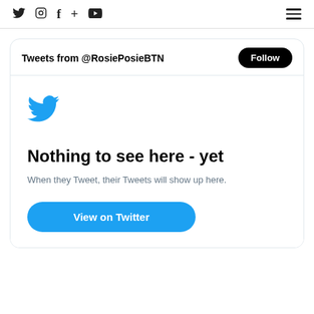Navigation bar with social icons (Twitter, Instagram, Facebook, +, YouTube) and hamburger menu
Tweets from @RosiePosieBTN
[Figure (logo): Twitter bird logo (blue)]
Nothing to see here - yet
When they Tweet, their Tweets will show up here.
View on Twitter